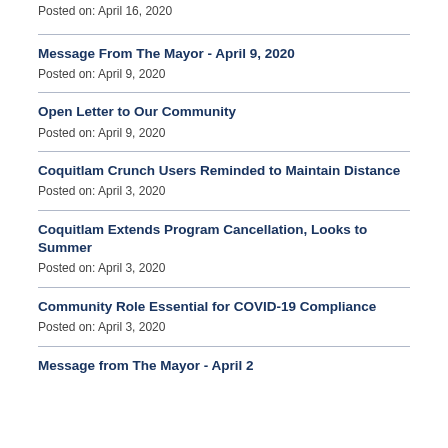Posted on: April 16, 2020
Message From The Mayor - April 9, 2020
Posted on: April 9, 2020
Open Letter to Our Community
Posted on: April 9, 2020
Coquitlam Crunch Users Reminded to Maintain Distance
Posted on: April 3, 2020
Coquitlam Extends Program Cancellation, Looks to Summer
Posted on: April 3, 2020
Community Role Essential for COVID-19 Compliance
Posted on: April 3, 2020
Message from The Mayor - April 2